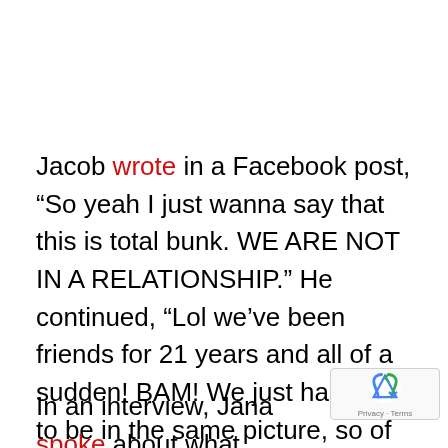Jacob wrote in a Facebook post, “So yeah I just wanna say that this is total bunk. WE ARE NOT IN A RELATIONSHIP.” He continued, “Lol we’ve been friends for 21 years and all of a sudden! BAM! We just happen to be in the same picture, so of course, the media has to make up a story about it to sell. So I’m here to clear the water … it ain’t true! Moral of the story? Don’t believe what you see online.”
In an interview, Jana spoke about what being ...